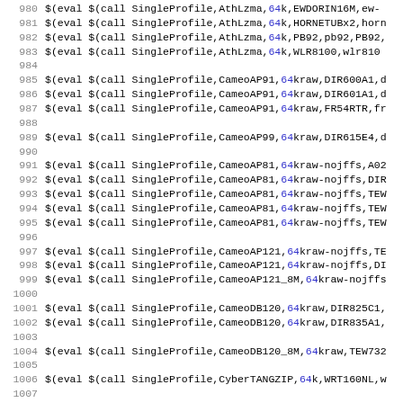Code listing lines 980-1012 showing $(eval $(call SingleProfile,...)) macro calls
980 $(eval $(call SingleProfile,AthLzma,64k,EWDORIN16M,ew-
981 $(eval $(call SingleProfile,AthLzma,64k,HORNETUBx2,horn
982 $(eval $(call SingleProfile,AthLzma,64k,PB92,pb92,PB92,
983 $(eval $(call SingleProfile,AthLzma,64k,WLR8100,wlr8100
984
985 $(eval $(call SingleProfile,CameoAP91,64kraw,DIR600A1,d
986 $(eval $(call SingleProfile,CameoAP91,64kraw,DIR601A1,d
987 $(eval $(call SingleProfile,CameoAP91,64kraw,FR54RTR,fr
988
989 $(eval $(call SingleProfile,CameoAP99,64kraw,DIR615E4,d
990
991 $(eval $(call SingleProfile,CameoAP81,64kraw-nojffs,A02
992 $(eval $(call SingleProfile,CameoAP81,64kraw-nojffs,DIR
993 $(eval $(call SingleProfile,CameoAP81,64kraw-nojffs,TEW
994 $(eval $(call SingleProfile,CameoAP81,64kraw-nojffs,TEW
995 $(eval $(call SingleProfile,CameoAP81,64kraw-nojffs,TEW
996
997 $(eval $(call SingleProfile,CameoAP121,64kraw-nojffs,TE
998 $(eval $(call SingleProfile,CameoAP121,64kraw-nojffs,DI
999 $(eval $(call SingleProfile,CameoAP121_8M,64kraw-nojffs
1000
1001 $(eval $(call SingleProfile,CameoDB120,64kraw,DIR825C1,
1002 $(eval $(call SingleProfile,CameoDB120,64kraw,DIR835A1,
1003
1004 $(eval $(call SingleProfile,CameoDB120_8M,64kraw,TEW732
1005
1006 $(eval $(call SingleProfile,CyberTANGZIP,64k,WRT160NL,w
1007
1008 $(eval $(call SingleProfile,CyberTANLZMA,64k,MYNETREXT,
1009
1010 $(eval $(call SingleProfile,CameoAP94,64kraw,DIR825B1,d
1011 $(eval $(call SingleProfile,CameoAP94,64kraw,TEW673GRU,
1012 ...